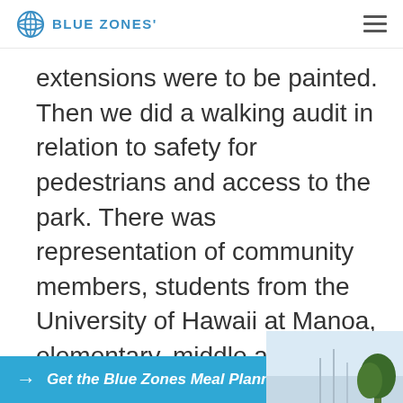BLUE ZONES'
extensions were to be painted. Then we did a walking audit in relation to safety for pedestrians and access to the park. There was representation of community members, students from the University of Hawaii at Manoa, elementary, middle and high school students. There were organizations such as AARP, Trees for Honolulu’s Future, and others. Throughout, different groups were represented.
Get the Blue Zones Meal Planner!